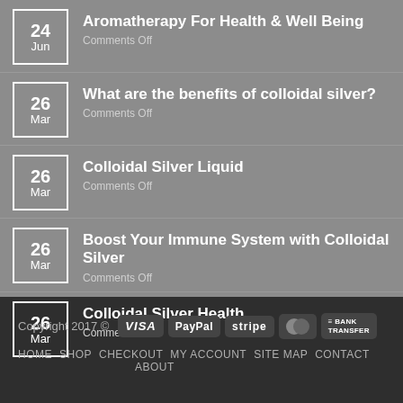Aromatherapy For Health & Well Being | Comments Off | 24 Jun
What are the benefits of colloidal silver? | Comments Off | 26 Mar
Colloidal Silver Liquid | Comments Off | 26 Mar
Boost Your Immune System with Colloidal Silver | Comments Off | 26 Mar
Colloidal Silver Health | Comments Off | 26 Mar
Copyright 2017 © | VISA | PayPal | stripe | MasterCard | BANK TRANSFER | HOME | SHOP | CHECKOUT | MY ACCOUNT | SITE MAP | CONTACT | ABOUT